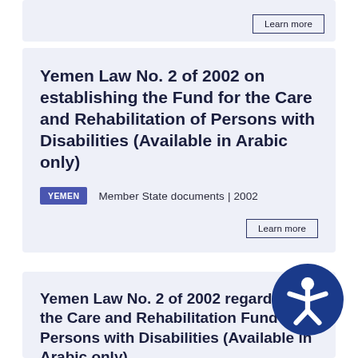Learn more
Yemen Law No. 2 of 2002 on establishing the Fund for the Care and Rehabilitation of Persons with Disabilities (Available in Arabic only)
YEMEN   Member State documents | 2002
Learn more
Yemen Law No. 2 of 2002 regarding the Care and Rehabilitation Fund for Persons with Disabilities (Available in Arabic only)
YEMEN   Member State documents | 2002